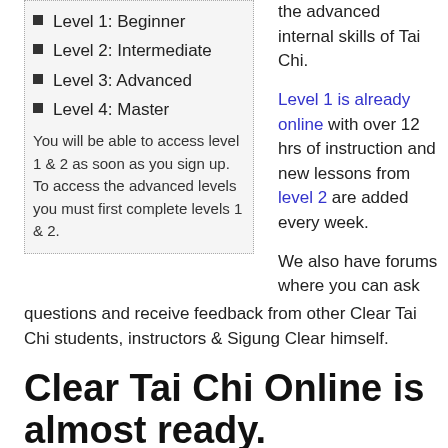Level 1: Beginner
Level 2: Intermediate
Level 3: Advanced
Level 4: Master
You will be able to access level 1 & 2 as soon as you sign up. To access the advanced levels you must first complete levels 1 & 2.
the advanced internal skills of Tai Chi.
Level 1 is already online with over 12 hrs of instruction and new lessons from level 2 are added every week.
We also have forums where you can ask questions and receive feedback from other Clear Tai Chi students, instructors & Sigung Clear himself.
Clear Tai Chi Online is almost ready.